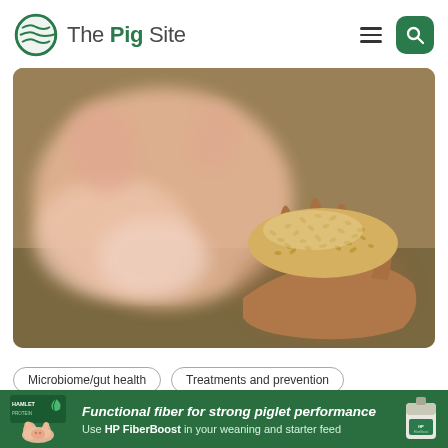The Pig Site
[Figure (photo): A person's hand holding a handful of grain/feed pellets in focus, with a blurred pig in the background. Agricultural/farming scene.]
Microbiome/gut health
Treatments and prevention
[Figure (infographic): Hamlet Protein advertisement banner with green background. Shows pig icon and Hamlet Protein logo on left. Text reads: Functional fiber for strong piglet performance. Use HP FiberBoost in your weaning and starter feed. Product bag image on right.]